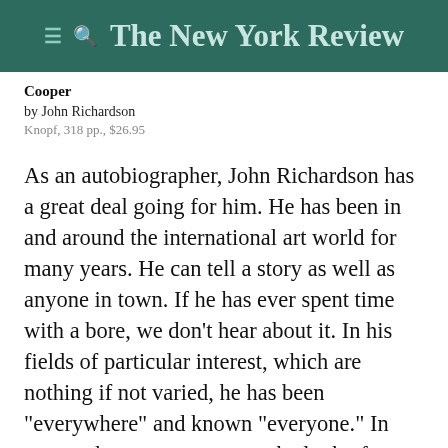The New York Review
Cooper
by John Richardson
Knopf, 318 pp., $26.95
As an autobiographer, John Richardson has a great deal going for him. He has been in and around the international art world for many years. He can tell a story as well as anyone in town. If he has ever spent time with a bore, we don't hear about it. In his fields of particular interest, which are nothing if not varied, he has been “everywhere” and known “everyone.” In person, he can summon up the look of a “most potent, grave and reverend signior,” only “to discard it in a flash when laughter looms.” Though currently